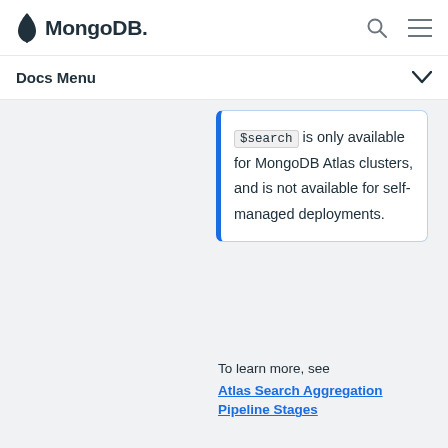MongoDB
Docs Menu
$search is only available for MongoDB Atlas clusters, and is not available for self-managed deployments.
To learn more, see
Atlas Search Aggregation Pipeline Stages